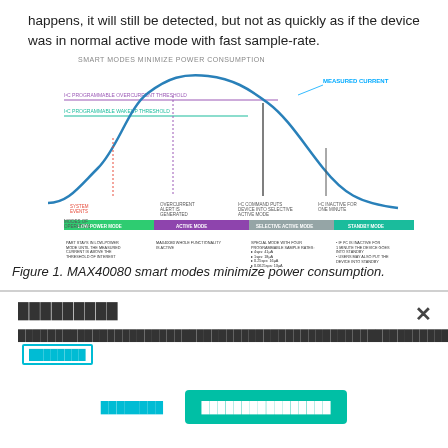happens, it will still be detected, but not as quickly as if the device was in normal active mode with fast sample-rate.
[Figure (infographic): Diagram titled 'SMART MODES MINIMIZE POWER CONSUMPTION' showing a bell curve of measured current over time, with labeled horizontal threshold lines (I2C programmable overcurrent threshold, I2C programmable wakeup threshold), vertical lines marking operational events (system events, overcurrent alert, I2C command puts device into selective active mode, I2C inactive for one minute), and four colored mode bars: Low-Power Mode 52µA, Active Mode 2.7mA, Selective Active Mode 0.1 to 41µA, Standby Mode 2.7µA, each with descriptive text.]
Figure 1. MAX40080 smart modes minimize power consumption.
█████████
██████████████████████████████████████████████████████████████████████████████████████████████████████████████████████████████████████████ [████████]
████████      ████████████████
█████████████████